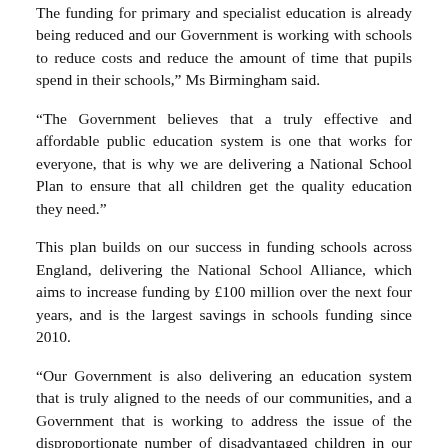The funding for primary and specialist education is already being reduced and our Government is working with schools to reduce costs and reduce the amount of time that pupils spend in their schools," Ms Birmingham said.
"The Government believes that a truly effective and affordable public education system is one that works for everyone, that is why we are delivering a National School Plan to ensure that all children get the quality education they need."
This plan builds on our success in funding schools across England, delivering the National School Alliance, which aims to increase funding by £100 million over the next four years, and is the largest savings in schools funding since 2010.
"Our Government is also delivering an education system that is truly aligned to the needs of our communities, and a Government that is working to address the issue of the disproportionate number of disadvantaged children in our schools."
The Government plans to close schools that are no longer